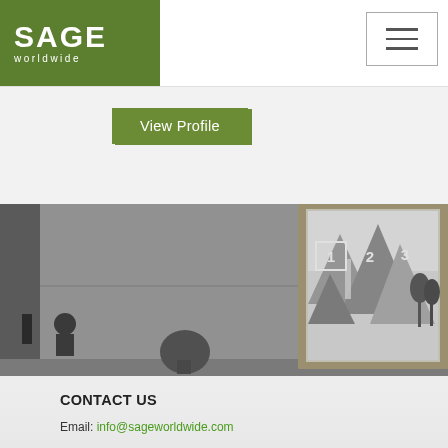[Figure (logo): SAGE worldwide logo - white text on dark green background]
[Figure (screenshot): Hamburger menu icon button (three horizontal lines) with border]
View Profile
[Figure (photo): Black and white photograph of an interior hall with a large framed Chinese landscape painting on the wall. A person stands to the left. Numbered markers 1, 2, 3 appear on the painting. A potted plant is visible.]
CONTACT US
Email: info@sageworldwide.com
FOLLOW US
[Figure (infographic): Three social media icons: Facebook (blue circle with f), LinkedIn (teal circle with in), Twitter (teal circle with bird)]